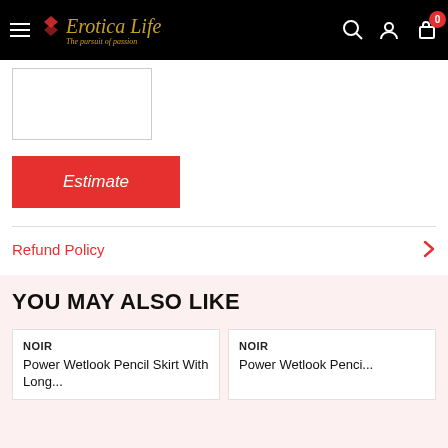EroticaLife – The pursuit of passion
[Figure (screenshot): White product image thumbnail with border]
Estimate
Refund Policy
YOU MAY ALSO LIKE
NOIR
Power Wetlook Pencil Skirt With Long...
NOIR
Power Wetlook Penci...